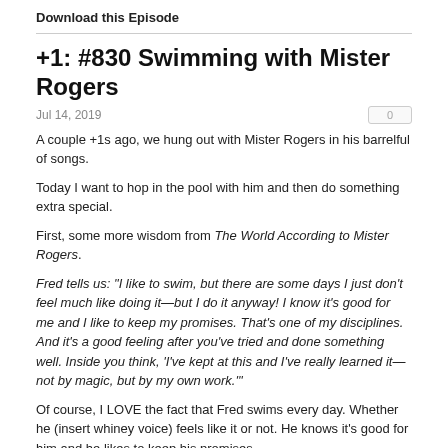Download this Episode
+1: #830 Swimming with Mister Rogers
Jul 14, 2019
A couple +1s ago, we hung out with Mister Rogers in his barrelful of songs.
Today I want to hop in the pool with him and then do something extra special.
First, some more wisdom from The World According to Mister Rogers.
Fred tells us: "I like to swim, but there are some days I just don't feel much like doing it—but I do it anyway! I know it's good for me and I like to keep my promises. That's one of my disciplines. And it's a good feeling after you've tried and done something well. Inside you think, 'I've kept at this and I've really learned it—not by magic, but by my own work.'"
Of course, I LOVE the fact that Fred swims every day. Whether he (insert whiney voice) feels like it or not. He knows it's good for him and he likes to keep his promises.
So...